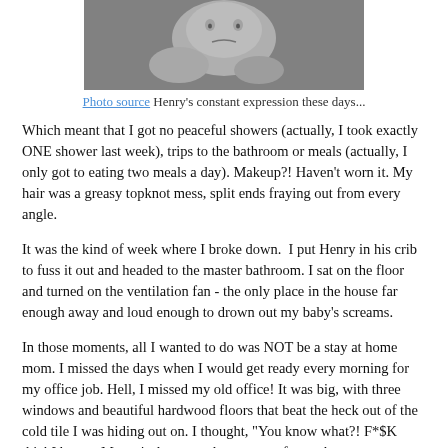[Figure (photo): Black and white photo of a baby's face with a frowning or displeased expression]
Photo source Henry's constant expression these days...
Which meant that I got no peaceful showers (actually, I took exactly ONE shower last week), trips to the bathroom or meals (actually, I only got to eating two meals a day). Makeup?! Haven't worn it. My hair was a greasy topknot mess, split ends fraying out from every angle.
It was the kind of week where I broke down.  I put Henry in his crib to fuss it out and headed to the master bathroom. I sat on the floor and turned on the ventilation fan - the only place in the house far enough away and loud enough to drown out my baby's screams.
In those moments, all I wanted to do was NOT be a stay at home mom. I missed the days when I would get ready every morning for my office job. Hell, I missed my old office! It was big, with three windows and beautiful hardwood floors that beat the heck out of the cold tile I was hiding out on. I thought, "You know what?! F*$K this! I have a Master's degree and ten years of a work